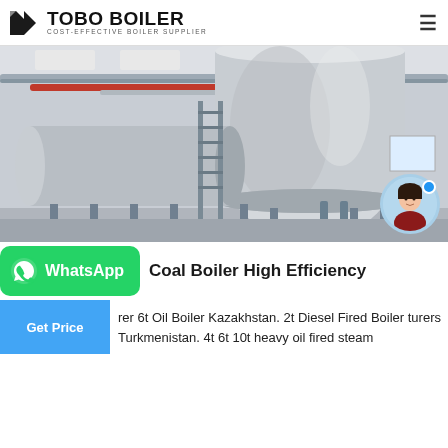TOBO BOILER — COST-EFFECTIVE BOILER SUPPLIER
[Figure (photo): Industrial boiler equipment inside a factory/warehouse. Large cylindrical silver boiler tanks with piping and scaffolding, overhead pipes on ceiling.]
Coal Boiler High Efficiency
rer 6t Oil Boiler Kazakhstan. 2t Diesel Fired Boiler turers Turkmenistan. 4t 6t 10t heavy oil fired steam